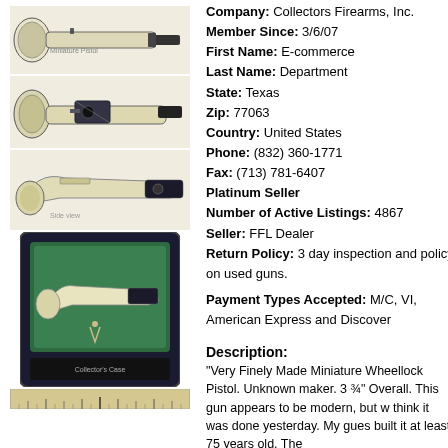[Figure (photo): Top view of a miniature wheellock pistol with ivory/bone handle, cream colored]
[Figure (photo): Side view of miniature wheellock pistol showing mechanism, dark metal parts]
[Figure (photo): Another angle of the miniature wheellock pistol with cream/ivory stock]
[Figure (photo): Miniature wheellock pistol displayed in dark velvet case with green lining, with small figure]
[Figure (photo): Ruler for scale reference]
Company: Collectors Firearms, Inc.
Member Since: 3/6/07
First Name: E-commerce
Last Name: Department
State: Texas
Zip: 77063
Country: United States
Phone: (832) 360-1771
Fax: (713) 781-6407
Platinum Seller
Number of Active Listings: 4867
Seller: FFL Dealer
Return Policy: 3 day inspection and policy on used guns.
Payment Types Accepted: M/C, VI, American Express and Discover
Description:
"Very Finely Made Miniature Wheellock Pistol. Unknown maker. 3 3/4" Overall. This gun appears to be modern, but w think it was done yesterday. My gues built it at least 75 years old. The